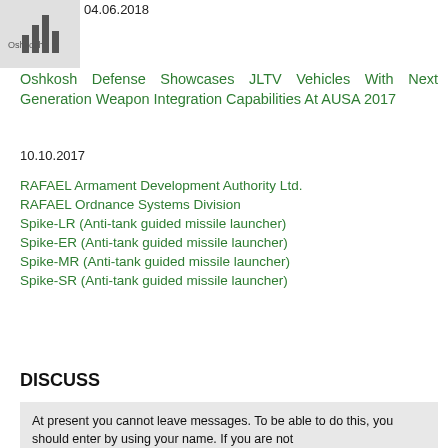[Figure (logo): Oshkosh Defense logo with bar graph icon]
04.06.2018
Oshkosh Defense Showcases JLTV Vehicles With Next Generation Weapon Integration Capabilities At AUSA 2017
10.10.2017
RAFAEL Armament Development Authority Ltd.
RAFAEL Ordnance Systems Division
Spike-LR (Anti-tank guided missile launcher)
Spike-ER (Anti-tank guided missile launcher)
Spike-MR (Anti-tank guided missile launcher)
Spike-SR (Anti-tank guided missile launcher)
DISCUSS
At present you cannot leave messages. To be able to do this, you should enter by using your name. If you are not